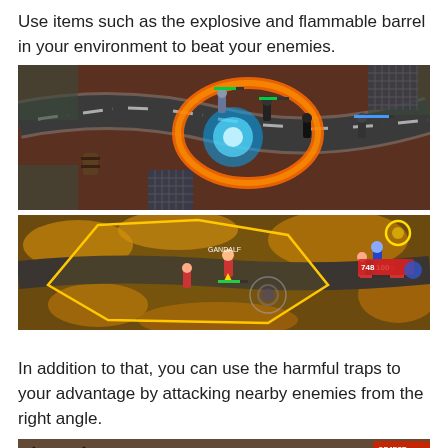Use items such as the explosive and flammable barrel in your environment to beat your enemies.
[Figure (screenshot): Top-down isometric game screenshot showing characters on a road with a large blue glowing explosion effect in the center, surrounded by orange fire ring, against a dark reddish-brown environment.]
[Figure (screenshot): Top-down isometric game screenshot showing a hexagonal yellow selection area with character labeled GANDALF inside, health bars visible, in an autumn/golden grass environment.]
In addition to that, you can use the harmful traps to your advantage by attacking nearby enemies from the right angle.
[Figure (screenshot): Partial top-down game screenshot showing environment with OBJECT text visible in top right corner.]